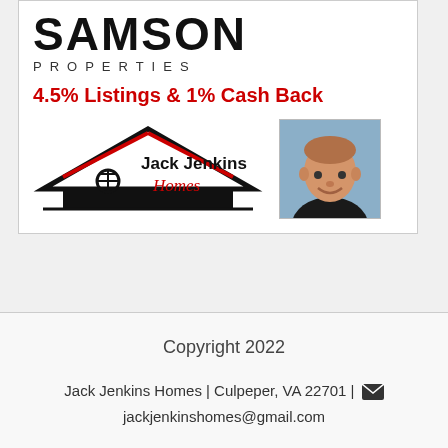[Figure (logo): Samson Properties logo with large SAMSON text and PROPERTIES in spaced letters below]
4.5% Listings & 1% Cash Back
[Figure (logo): Jack Jenkins Homes logo with house icon in black and red, and agent headshot photo]
Copyright 2022
Jack Jenkins Homes | Culpeper, VA 22701 | jackjenkinshomes@gmail.com
Sitemap | Listings